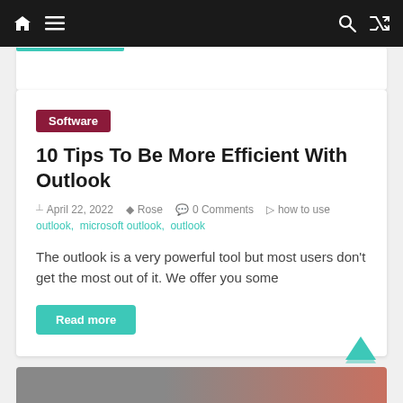Navigation bar with home, menu, search, and shuffle icons
Software
10 Tips To Be More Efficient With Outlook
April 22, 2022  Rose  0 Comments  how to use outlook, microsoft outlook, outlook
The outlook is a very powerful tool but most users don't get the most out of it. We offer you some
Read more